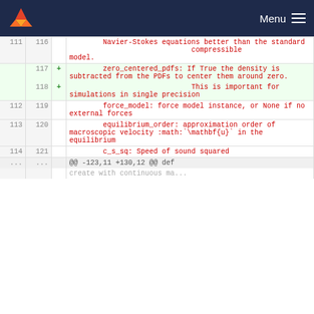Menu
111  116      Navier-Stokes equations better than the standard                              compressible model.
117  +         zero_centered_pdfs: If True the density is subtracted from the PDFs to center them around zero.
118  +                              This is important for simulations in single precision
112  119          force_model: force model instance, or None if no external forces
113  120          equilibrium_order: approximation order of macroscopic velocity :math:`\mathbf{u}` in the equilibrium
114  121          c_s_sq: Speed of sound squared
...  ...  @@ -123,11 +130,12 @@ def